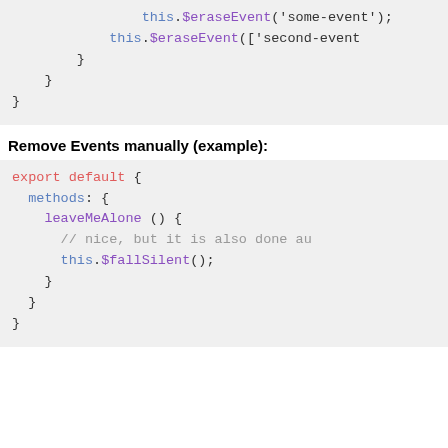[Figure (screenshot): Code block showing this.$eraseEvent calls with closing braces]
Remove Events manually (example):
[Figure (screenshot): Code block showing export default with methods: { leaveMeAlone() { // nice, but it is also done automatically this.$fallSilent(); } } }]